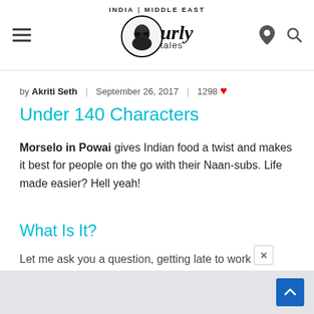Curly Tales — INDIA | MIDDLE EAST
by Akriti Seth | September 26, 2017 | 1298 ❤
Under 140 Characters
Morselo in Powai gives Indian food a twist and makes it best for people on the go with their Naan-subs. Life made easier? Hell yeah!
What Is It?
Let me ask you a question, getting late to work and really hungry!